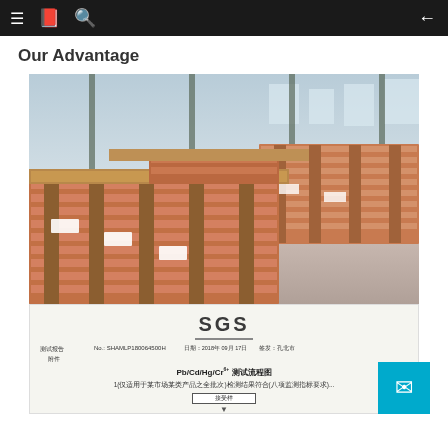≡  [book icon]  [search icon]  ←
Our Advantage
[Figure (photo): Warehouse interior showing stacks of large metal sheets (likely steel plates with orange/copper finish) on pallets, arranged in rows inside a large industrial warehouse with metal framework and windows.]
[Figure (other): SGS test report document in Chinese showing Pb/Cd/Hg/Cr6+ testing flow chart with Chinese text including 测试报告 (test report), 附件 (attachment), and a partial flowchart showing testing process steps.]